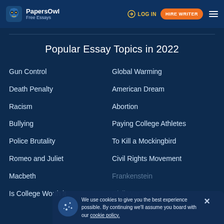PapersOwl Free Essays | LOG IN | HIRE WRITER
Popular Essay Topics in 2022
Gun Control
Global Warming
Death Penalty
American Dream
Racism
Abortion
Bullying
Paying College Athletes
Police Brutality
To Kill a Mockingbird
Romeo and Juliet
Civil Rights Movement
Macbeth
Frankenstein
Is College Worth it
Civil War
We use cookies to give you the best experience possible. By continuing we'll assume you board with our cookie policy.